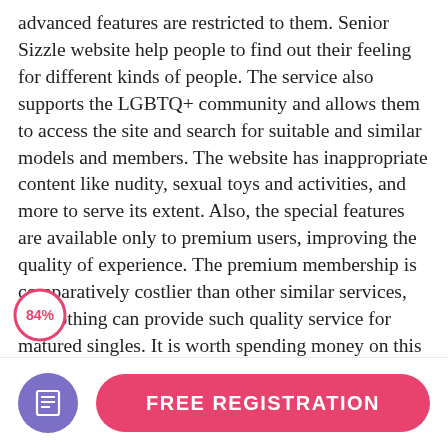advanced features are restricted to them. Senior Sizzle website help people to find out their feeling for different kinds of people. The service also supports the LGBTQ+ community and allows them to access the site and search for suitable and similar models and members. The website has inappropriate content like nudity, sexual toys and activities, and more to serve its extent. Also, the special features are available only to premium users, improving the quality of experience. The premium membership is comparatively costlier than other similar services, but nothing can provide such quality service for matured singles. It is worth spending money on this service because no services match such quality. Please don't waste your time, and try it now.
[Figure (infographic): A circular badge showing 84% rating with a red/pink circle outline]
[Figure (infographic): Purple circle icon with a document/list icon inside, and a pink FREE REGISTRATION button]